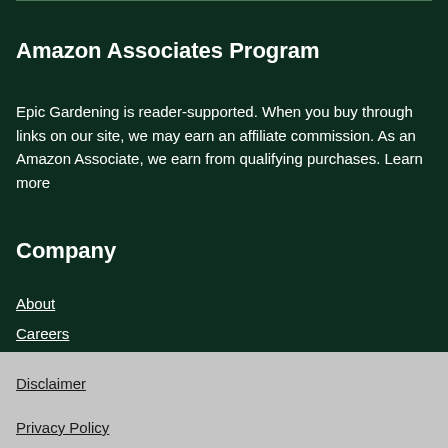Amazon Associates Program
Epic Gardening is reader-supported. When you buy through links on our site, we may earn an affiliate commission. As an Amazon Associate, we earn from qualifying purchases. Learn more
Company
About
Careers
Press
Disclaimer
Privacy Policy